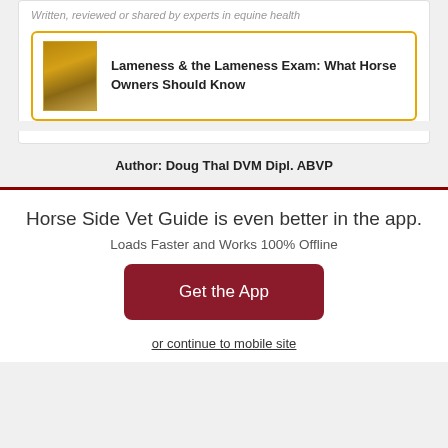Written, reviewed or shared by experts in equine health
[Figure (illustration): Book thumbnail with golden/brown cover]
Lameness & the Lameness Exam: What Horse Owners Should Know
Author: Doug Thal DVM Dipl. ABVP
Horse Side Vet Guide is even better in the app.
Loads Faster and Works 100% Offline
Get the App
or continue to mobile site